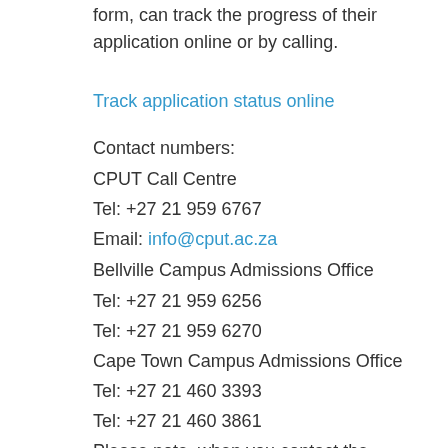form, can track the progress of their application online or by calling.
Track application status online
Contact numbers:
CPUT Call Centre
Tel: +27 21 959 6767
Email: info@cput.ac.za
Bellville Campus Admissions Office
Tel: +27 21 959 6256
Tel: +27 21 959 6270
Cape Town Campus Admissions Office
Tel: +27 21 460 3393
Tel: +27 21 460 3861
Please note, when you contact the institution, you will need to provide the Call Centre Agent or Admission's Officer with your identity number or passport number.
Start studying
Successful candidates will be notified in writing of their acceptance to the institution. You will be informed of the